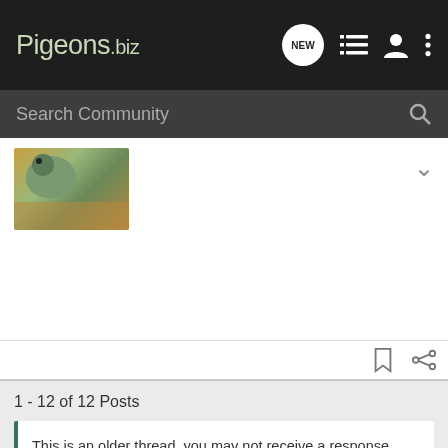Pigeons.biz
Search Community
[Figure (photo): Thumbnail photo of a pigeon, greenish-grey coloring, against a wooden background]
1 - 12 of 12 Posts
This is an older thread, you may not receive a response, and could be reviving an old thread. Please consider creating a new thread.
Join the discussion